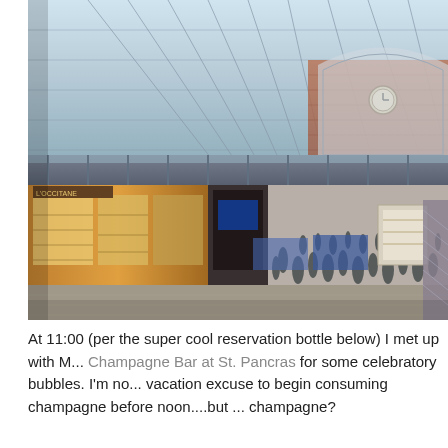[Figure (photo): Interior of St. Pancras International station showing the iconic arched glass and iron roof, two levels of the station with shops and crowds of people on the ground floor, brick facade visible in the background, taken from an elevated viewpoint.]
At 11:00 (per the super cool reservation bottle below) I met up with M... Champagne Bar at St. Pancras for some celebratory bubbles. I'm no... vacation excuse to begin consuming champagne before noon....but ... champagne?